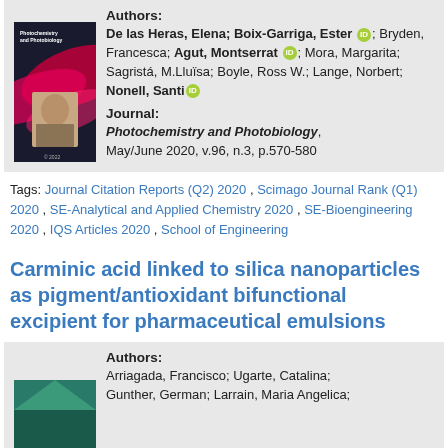Authors:
De las Heras, Elena; Boix-Garriga, Ester [ORCID]; Bryden, Francesca; Agut, Montserrat [ORCID]; Mora, Margarita; Sagristá, M.Lluïsa; Boyle, Ross W.; Lange, Norbert; Nonell, Santi [ORCID]
Journal:
Photochemistry and Photobiology, May/June 2020, v.96, n.3, p.570-580
[Figure (photo): Book cover of Photochemistry and Photobiology journal with red/pink wave design and portrait photo]
Tags: Journal Citation Reports (Q2) 2020 , Scimago Journal Rank (Q1) 2020 , SE-Analytical and Applied Chemistry 2020 , SE-Bioengineering 2020 , IQS Articles 2020 , School of Engineering
Carminic acid linked to silica nanoparticles as pigment/antioxidant bifunctional excipient for pharmaceutical emulsions
Authors:
Arriagada, Francisco; Ugarte, Catalina; Gunther, German; Larrain, Maria Angelica;